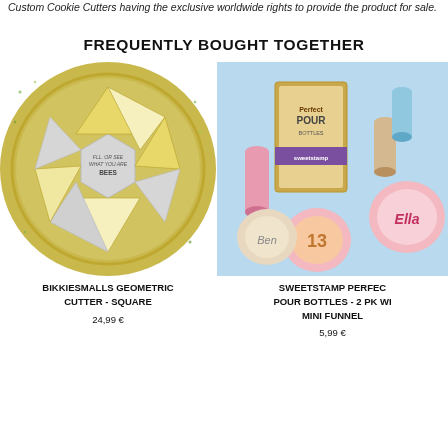Custom Cookie Cutters having the exclusive worldwide rights to provide the product for sale.
FREQUENTLY BOUGHT TOGETHER
[Figure (photo): Geometric cookie cutter set arranged in a star/flower pattern on a round plate with gold/green sprinkles, featuring hexagonal and triangular cookie pieces in yellow, white and green]
[Figure (photo): Sweetstamp Perfect Pour Bottles 2-pack with mini funnel product on light blue background, with decorated cookies showing names and number 13]
BIKKIESMALLS GEOMETRIC CUTTER - SQUARE
24,99 €
SWEETSTAMP PERFECT POUR BOTTLES - 2 PK WI MINI FUNNEL
5,99 €